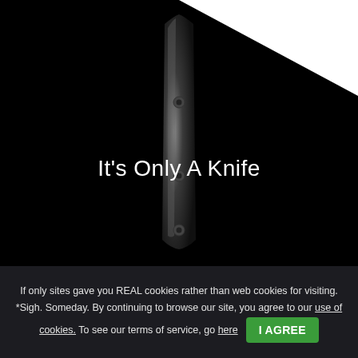[Figure (photo): Dark black background with a chef's knife handle/blade shown vertically, with three rivets visible. A white diagonal area appears in the top-right corner.]
It's Only A Knife
If only sites gave you REAL cookies rather than web cookies for visiting. *Sigh. Someday. By continuing to browse our site, you agree to our use of cookies. To see our terms of service, go here